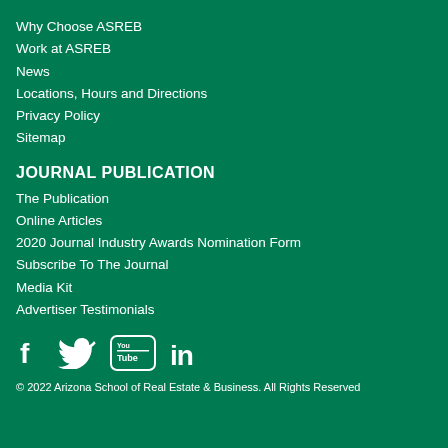Why Choose ASREB
Work at ASREB
News
Locations, Hours and Directions
Privacy Policy
Sitemap
JOURNAL PUBLICATION
The Publication
Online Articles
2020 Journal Industry Awards Nomination Form
Subscribe To The Journal
Media Kit
Advertiser Testimonials
[Figure (illustration): Social media icons: Facebook, Twitter, YouTube, LinkedIn]
© 2022 Arizona School of Real Estate & Business. All Rights Reserved